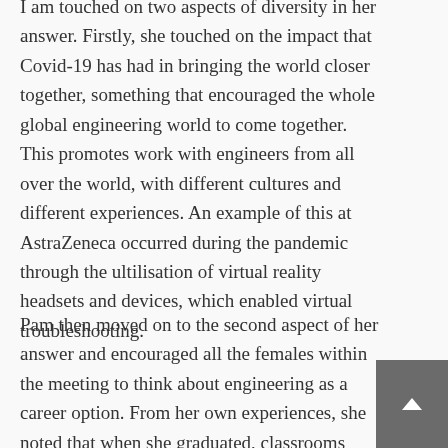I am touched on two aspects of diversity in her answer. Firstly, she touched on the impact that Covid-19 has had in bringing the world closer together, something that encouraged the whole global engineering world to come together. This promotes work with engineers from all over the world, with different cultures and different experiences. An example of this at AstraZeneca occurred during the pandemic through the ultilisation of virtual reality headsets and devices, which enabled virtual troubleshooting.
Pam then moved on to the second aspect of her answer and encouraged all the females within the meeting to think about engineering as a career option. From her own experiences, she noted that when she graduated, classrooms were only 10% female, however this figure is now rising...